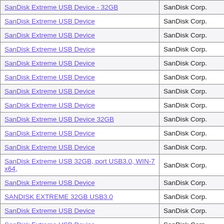| Device Name | Manufacturer |
| --- | --- |
| SanDisk Extreme USB Device - 32GB | SanDisk Corp. |
| SanDisk Extreme USB Device | SanDisk Corp. |
| SanDisk Extreme USB Device | SanDisk Corp. |
| SanDisk Extreme USB Device | SanDisk Corp. |
| SanDisk Extreme USB Device | SanDisk Corp. |
| SanDisk Extreme USB Device | SanDisk Corp. |
| SanDisk Extreme USB Device | SanDisk Corp. |
| SanDisk Extreme USB Device | SanDisk Corp. |
| SanDisk Extreme USB Device 32GB | SanDisk Corp. |
| SanDisk Extreme USB Device | SanDisk Corp. |
| SanDisk Extreme USB Device | SanDisk Corp. |
| SanDisk Extreme USB 32GB, port USB3.0, WIN-7 x64, | SanDisk Corp. |
| SanDisk Extreme USB Device | SanDisk Corp. |
| SANDISK EXTREME 32GB USB3.0 | SanDisk Corp. |
| SanDisk Extreme USB Device | SanDisk Corp. |
| SanDisk Extreme USB Device | SanDisk Corp. |